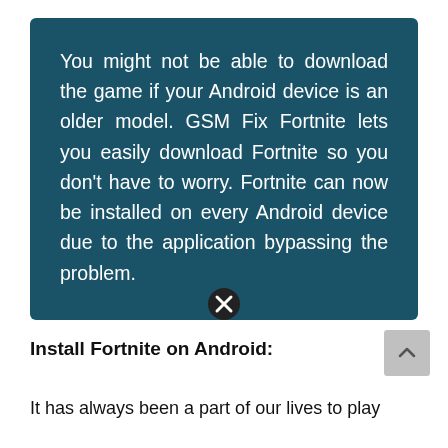You might not be able to download the game if your Android device is an older model. GSM Fix Fortnite lets you easily download Fortnite so you don't have to worry. Fortnite can now be installed on every Android device due to the application bypassing the problem.
Install Fortnite on Android:
It has always been a part of our lives to play